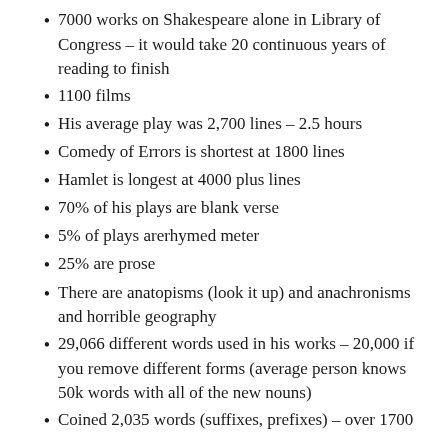7000 works on Shakespeare alone in Library of Congress – it would take 20 continuous years of reading to finish
1100 films
His average play was 2,700 lines – 2.5 hours
Comedy of Errors is shortest at 1800 lines
Hamlet is longest at 4000 plus lines
70% of his plays are blank verse
5% of plays arerhymed meter
25% are prose
There are anatopisms (look it up) and anachronisms and horrible geography
29,066 different words used in his works – 20,000 if you remove different forms (average person knows 50k words with all of the new nouns)
Coined 2,035 words (suffixes, prefixes) – over 1700